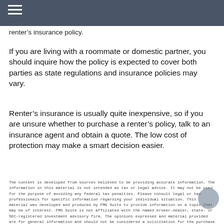renter's insurance policy.
If you are living with a roommate or domestic partner, you should inquire how the policy is expected to cover both parties as state regulations and insurance policies may vary.
Renter's insurance is usually quite inexpensive, so if you are unsure whether to purchase a renter's policy, talk to an insurance agent and obtain a quote. The low cost of protection may make a smart decision easier.
The content is developed from sources believed to be providing accurate information. The information in this material is not intended as tax or legal advice. It may not be used for the purpose of avoiding any federal tax penalties. Please consult legal or tax professionals for specific information regarding your individual situation. This material was developed and produced by FMG Suite to provide information on a topic that may be of interest. FMG Suite is not affiliated with the named broker-dealer, state- or SEC-registered investment advisory firm. The opinions expressed and material provided are for general information and should not be considered a solicitation for the purchase